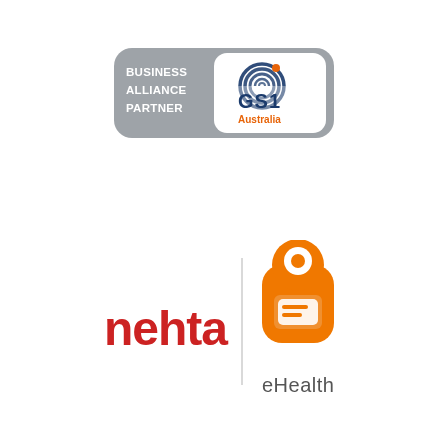[Figure (logo): GS1 Australia Business Alliance Partner logo — grey rounded rectangle badge with 'BUSINESS ALLIANCE PARTNER' text on left and GS1 globe logo with 'Australia' on right in white rounded rectangle]
[Figure (logo): nehta eHealth logo — red 'nehta' text on left, vertical divider line, orange stylized figure/envelope icon on right with 'eHealth' text below]